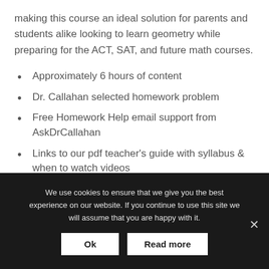making this course an ideal solution for parents and students alike looking to learn geometry while preparing for the ACT, SAT, and future math courses.
Approximately 6 hours of content
Dr. Callahan selected homework problem
Free Homework Help email support from AskDrCallahan
Links to our pdf teacher's guide with syllabus & when to watch videos
We use cookies to ensure that we give you the best experience on our website. If you continue to use this site we will assume that you are happy with it.